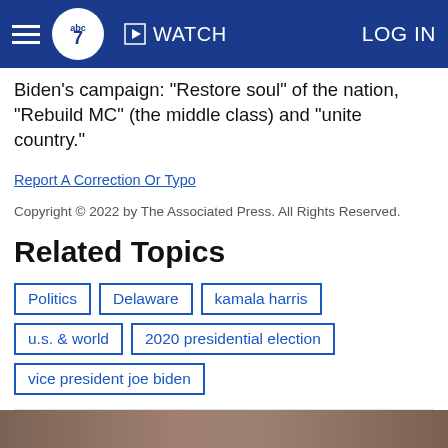ABC7 — WATCH — LOG IN
Biden's campaign: "Restore soul" of the nation, "Rebuild MC" (the middle class) and "unite country."
Report A Correction Or Typo
Copyright © 2022 by The Associated Press. All Rights Reserved.
Related Topics
Politics
Delaware
kamala harris
u.s. & world
2020 presidential election
vice president joe biden
FROM THE WEB   Sponsored Links by Taboola
[Figure (photo): Partial thumbnail image at bottom of page from Taboola sponsored content]